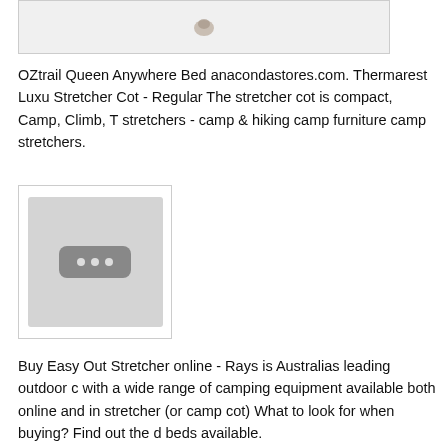[Figure (photo): Top portion of a product image, likely OZtrail Queen Anywhere Bed or similar camping stretcher product]
OZtrail Queen Anywhere Bed anacondastores.com. Thermarest Luxu Stretcher Cot - Regular The stretcher cot is compact, Camp, Climb, T stretchers - camp & hiking camp furniture camp stretchers.
[Figure (photo): Thumbnail placeholder image with three dots icon on grey background]
Buy Easy Out Stretcher online - Rays is Australias leading outdoor c with a wide range of camping equipment available both online and in stretcher (or camp cot) What to look for when buying? Find out the d beds available.
Buy Stretcher Beds for Camping online at the LOWEST PRICES EV DELIVERY Australia Wide & SAME DAY dispatch from Snowys. F